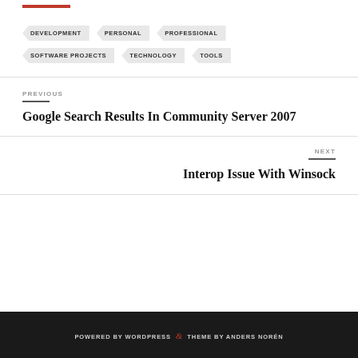DEVELOPMENT
PERSONAL
PROFESSIONAL
SOFTWARE PROJECTS
TECHNOLOGY
TOOLS
PREVIOUS
Google Search Results In Community Server 2007
NEXT
Interop Issue With Winsock
POWERED BY WORDPRESS & THEME BY ANDERS NORÉN